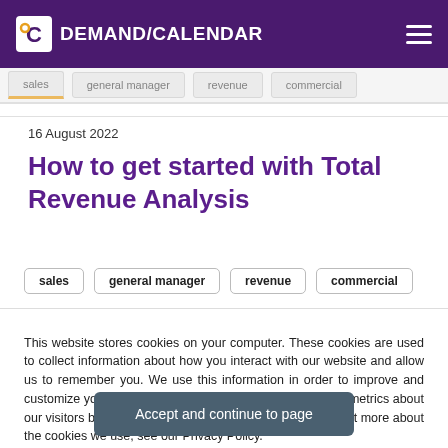DEMAND/CALENDAR
sales | general manager | revenue | commercial
16 August 2022
How to get started with Total Revenue Analysis
sales  general manager  revenue  commercial
This website stores cookies on your computer. These cookies are used to collect information about how you interact with our website and allow us to remember you. We use this information in order to improve and customize your browsing experience and for analytics and metrics about our visitors both on this website and other media. To find out more about the cookies we use, see our Privacy Policy.
Accept and continue to page